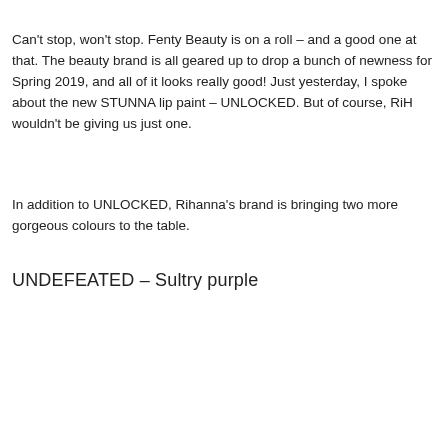Can't stop, won't stop. Fenty Beauty is on a roll – and a good one at that. The beauty brand is all geared up to drop a bunch of newness for Spring 2019, and all of it looks really good! Just yesterday, I spoke about the new STUNNA lip paint – UNLOCKED. But of course, RiH wouldn't be giving us just one.
In addition to UNLOCKED, Rihanna's brand is bringing two more gorgeous colours to the table.
UNDEFEATED – Sultry purple